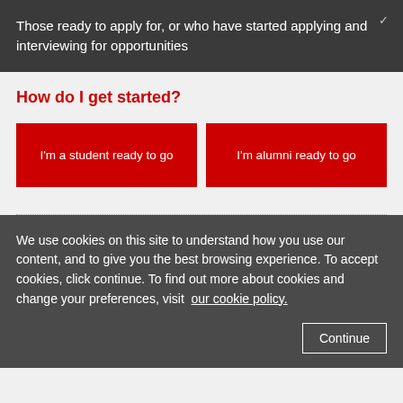Those ready to apply for, or who have started applying and interviewing for opportunities
How do I get started?
I'm a student ready to go
I'm alumni ready to go
We use cookies on this site to understand how you use our content, and to give you the best browsing experience. To accept cookies, click continue. To find out more about cookies and change your preferences, visit  our cookie policy.
Continue